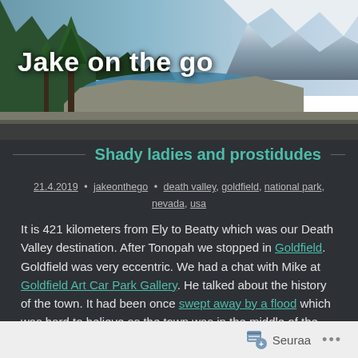[Figure (photo): Panoramic landscape photo of a mountain lake with pine trees and snow-capped peaks, used as blog header image]
Jake on the go
Shady ladies and prostidudes
21.4.2019 • jakeonthego • death valley, goldfield, national park, nevada, usa
It is 421 kilometers from Ely to Beatty which was our Death Valley destination. After Tonopah we stopped in Goldfield. Goldfield was very eccentric. We had a chat with Mike at Goldfield Art Car Park Gallery. He talked about the history of the town. It had been once swept away by a flood which was hard to believe as the town was in the middle of the desert. Mike had some mildly decorated cars in the car park and some of them had even been to Burning Man.
Seuraa